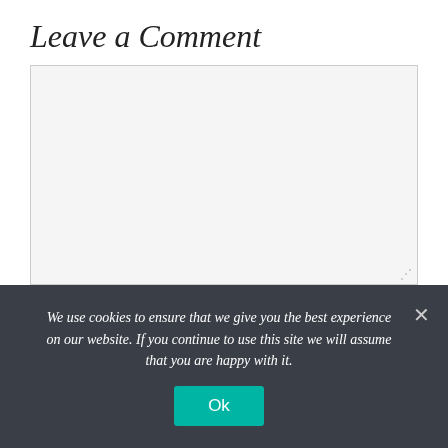Leave a Comment
[Figure (screenshot): Empty comment textarea input box with light gray background]
Name *
We use cookies to ensure that we give you the best experience on our website. If you continue to use this site we will assume that you are happy with it.
Ok